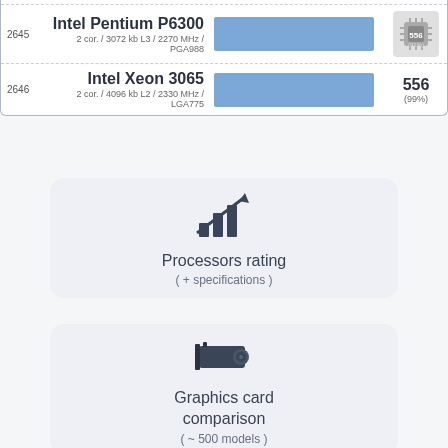| Rank | CPU Name | Specs | Bar | Score |
| --- | --- | --- | --- | --- |
| 2645 | Intel Pentium P6300 | 2 cor. / 3072 kb L3 / 2270 MHz / PGA988 | [bar] | 556 (91%) |
| 2646 | Intel Xeon 3065 | 2 cor. / 4096 kb L2 / 2330 MHz / LGA775 | [bar] | 556 (99%) |
[Figure (infographic): Card button showing chart icon with label 'Processors rating ( + specifications )']
[Figure (infographic): Card button showing graphics card icon with label 'Graphics card comparison ( ~ 500 models )']